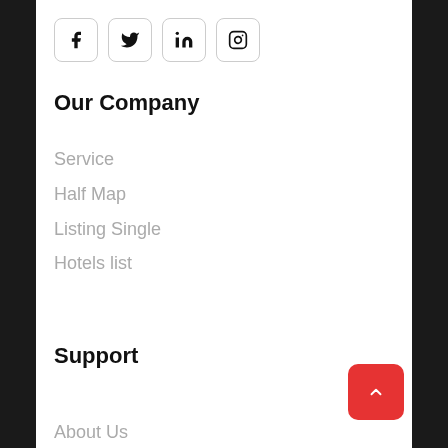[Figure (infographic): Row of four social media icon buttons (Facebook, Twitter, LinkedIn, Instagram) with rounded square borders]
Our Company
Service
Half Map
Listing Single
Hotels list
Support
About Us
Contact Us
FAQs
[Figure (infographic): Red rounded square back-to-top button with upward triangle arrow icon, positioned bottom right]